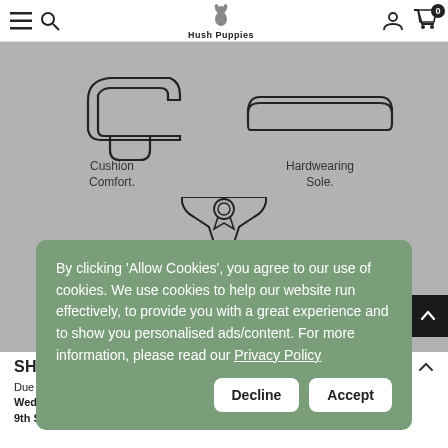Hush Puppies — navigation bar with menu, search, account, cart (0)
[Figure (illustration): Two shoe feature icons on grey background: cushion sole outline (left) and hardwearing sole outline (right), with labels 'Cushion Comfort.' and 'Hardwearing Sole.']
[Figure (illustration): Leather quality badge icon (shield shape with award ribbon) centered on grey background]
SH
Due to... st, Wednesday 31st August, Thursday 8th September and Friday 9th September, there may be delays with your deliveries. We
By clicking 'Allow Cookies', you agree to our use of cookies. We use cookies to help our website run effectively, to provide you with a great experience and to show you personalised ads/content. For more information, please read our Privacy Policy
Decline  Accept